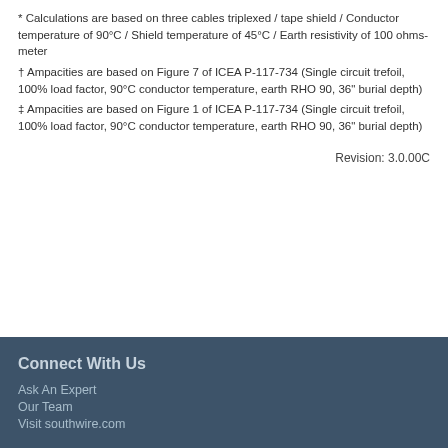* Calculations are based on three cables triplexed / tape shield / Conductor temperature of 90°C / Shield temperature of 45°C / Earth resistivity of 100 ohms-meter
† Ampacities are based on Figure 7 of ICEA P-117-734 (Single circuit trefoil, 100% load factor, 90°C conductor temperature, earth RHO 90, 36" burial depth)
‡ Ampacities are based on Figure 1 of ICEA P-117-734 (Single circuit trefoil, 100% load factor, 90°C conductor temperature, earth RHO 90, 36" burial depth)
Revision: 3.0.00C
Connect With Us
Ask An Expert
Our Team
Visit southwire.com